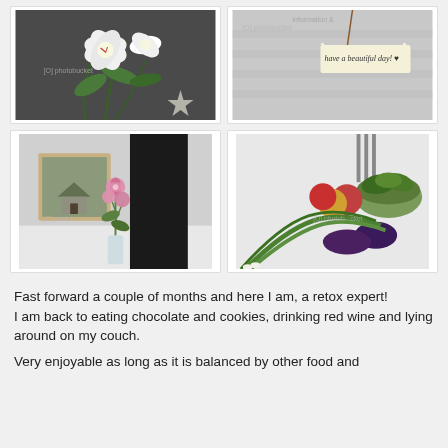[Figure (photo): White lily flowers with green leaves arranged in a vase, dark gray background, Photobucket watermark]
[Figure (photo): Paper tag hanging with handwritten text 'have a beautiful day!' on white/gray background, Photobucket watermark]
[Figure (photo): Pink flower in a glass vase next to a black cylindrical vase, with a small framed painting on the wall, Photobucket watermark]
[Figure (photo): Fresh vegetables and fruits on a table: green onions, eggplants, apples, and a bowl of green leafy vegetables, Photobucket watermark]
Fast forward a couple of months and here I am, a retox expert!
I am back to eating chocolate and cookies, drinking red wine and lying around on my couch.

Very enjoyable as long as it is balanced by other food and